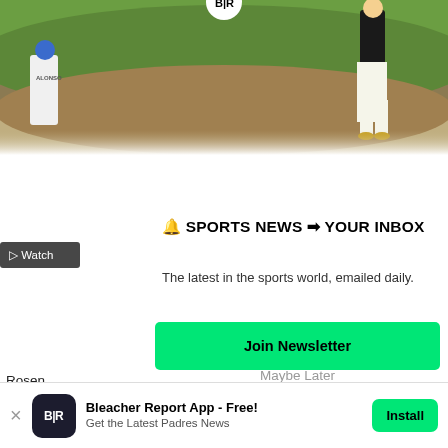[Figure (photo): Baseball game photo showing players on a field — one player in white jersey with 'ALONSO' visible, another in white baseball pants near base, green grass and dirt infield background]
Watch
🔔 SPORTS NEWS ➡ YOUR INBOX
The latest in the sports world, emailed daily.
Join Newsletter
Maybe Later
Rosen
acquir
spent
he joir
It coul
reliabl
B/R Re
Bleacher Report App - Free! Get the Latest Padres News  Install